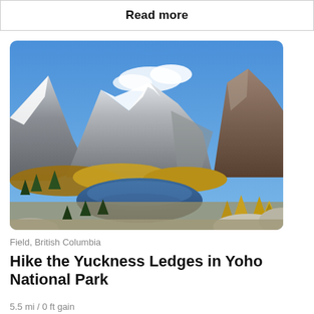Read more
[Figure (photo): Mountain landscape with snow-capped peaks, a blue alpine lake, and golden autumn larch trees in the foreground. Located in Yoho National Park, British Columbia, Canada.]
Field, British Columbia
Hike the Yuckness Ledges in Yoho National Park
5.5 mi / 0 ft gain